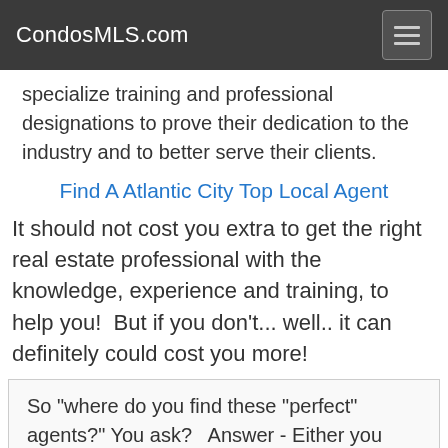CondosMLS.com
specialize training and professional designations to prove their dedication to the industry and to better serve their clients.
Find A Atlantic City Top Local Agent
It should not cost you extra to get the right real estate professional with the knowledge, experience and training, to help you!  But if you don't... well.. it can definitely could cost you more!
So "where do you find these "perfect" agents?" You ask?   Answer - Either you